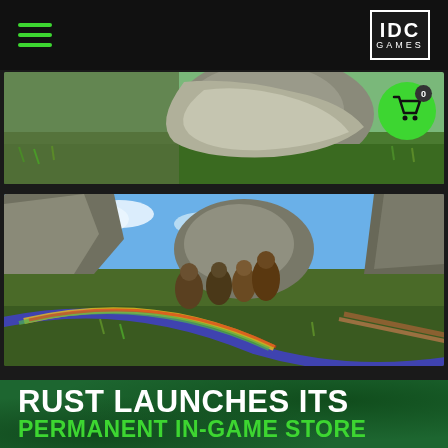IDC Games — hamburger menu and logo header
[Figure (screenshot): Game screenshot showing a large rock formation with grassy terrain and character close-up, survival game environment]
[Figure (screenshot): Game screenshot showing multiple characters near rocky terrain in a survival game, with a colorful decorated bow/weapon in the foreground]
RUST LAUNCHES ITS PERMANENT IN-GAME STORE